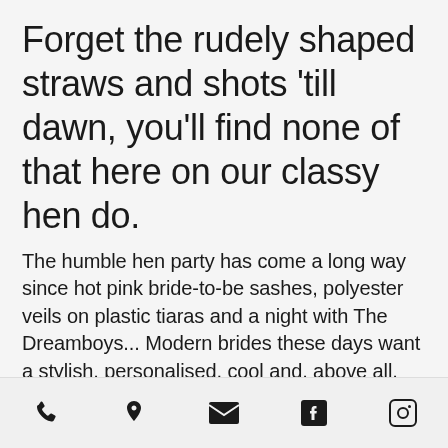Forget the rudely shaped straws and shots 'till dawn, you'll find none of that here on our classy hen do.
The humble hen party has come a long way since hot pink bride-to-be sashes, polyester veils on plastic tiaras and a night with The Dreamboys... Modern brides these days want a stylish, personalised, cool and, above all, classy hen party – that is different (and better) from anyone else's! And not a
[phone] [location] [email] [facebook] [instagram]